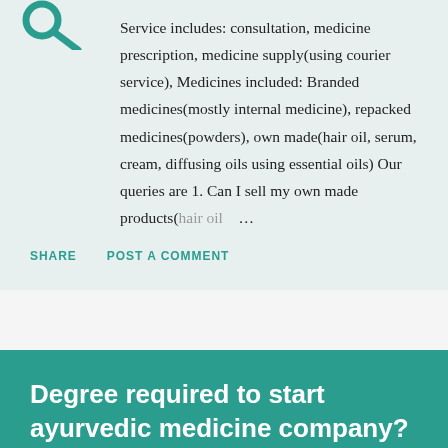[Figure (logo): Teal magnifying glass icon]
Service includes: consultation, medicine prescription, medicine supply(using courier service), Medicines included: Branded medicines(mostly internal medicine), repacked medicines(powders), own made(hair oil, serum, cream, diffusing oils using essential oils) Our queries are 1. Can I sell my own made products(hair oil ...
SHARE   POST A COMMENT
Degree required to start ayurvedic medicine company?